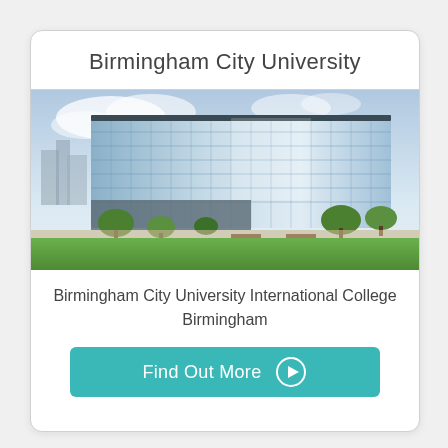Birmingham City University
[Figure (photo): Photograph of a modern glass-facade university building with green lawns in the foreground and trees, under a partly cloudy sky.]
Birmingham City University International College
Birmingham
Find Out More